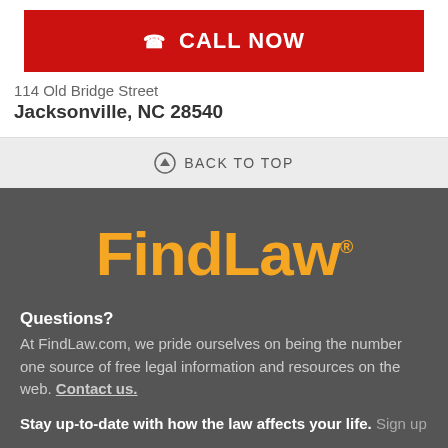[Figure (other): Red CALL NOW button with phone icon]
114 Old Bridge Street
Jacksonville, NC 28540
BACK TO TOP
[Figure (logo): FindLaw orange logo with registered trademark symbol]
Questions?
At FindLaw.com, we pride ourselves on being the number one source of free legal information and resources on the web. Contact us.
Stay up-to-date with how the law affects your life. Sign up